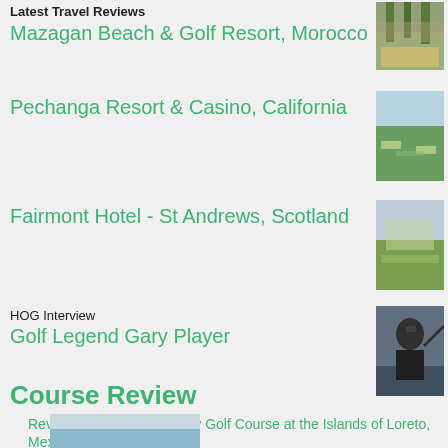Latest Travel Reviews
Mazagan Beach & Golf Resort, Morocco
[Figure (photo): Mazagan Beach & Golf Resort exterior with palm trees]
Pechanga Resort & Casino, California
[Figure (photo): Aerial view of Pechanga resort and golf course]
Fairmont Hotel - St Andrews, Scotland
[Figure (photo): Fairmont Hotel golf course in St Andrews]
HOG Interview
Golf Legend Gary Player
[Figure (photo): Gary Player swinging a golf club]
Course Review
Review: TPC Danzante Bay Golf Course at the Islands of Loreto, Mexico
[Figure (photo): TPC Danzante Bay Golf Course at the Islands of Loreto, Mexico]